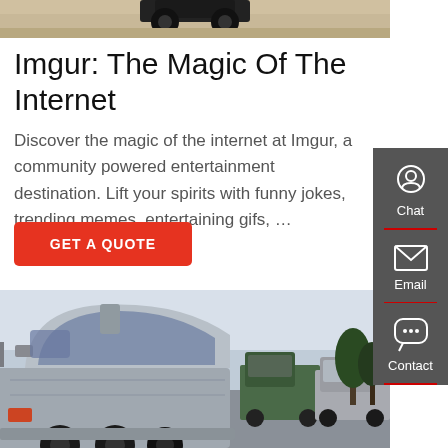[Figure (photo): Top portion of a truck cab visible against a sandy/dirt background, showing the dark roof of a semi truck]
Imgur: The Magic Of The Internet
Discover the magic of the internet at Imgur, a community powered entertainment destination. Lift your spirits with funny jokes, trending memes, entertaining gifs, …
[Figure (screenshot): Red button labeled GET A QUOTE]
[Figure (photo): A large silver semi-truck cab (sleeper truck) in the foreground with other semi-trucks parked behind it in a lot, bare trees and telephone poles visible in the background under an overcast sky]